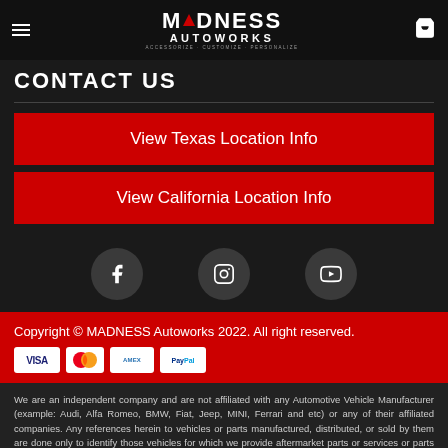MADNESS AUTOWORKS · ACCESSORIZE · CUSTOMIZE · PERSONALIZE
CONTACT US
View Texas Location Info
View California Location Info
[Figure (illustration): Three social media icons in dark circles: Facebook (f), Instagram (camera/square icon), YouTube (play button)]
Copyright © MADNESS Autoworks 2022. All right reserved.
[Figure (illustration): Payment method icons: VISA, Mastercard, American Express, PayPal]
We are an independent company and are not affiliated with any Automotive Vehicle Manufacturer (example: Audi, Alfa Romeo, BMW, Fiat, Jeep, MINI, Ferrari and etc) or any of their affiliated companies. Any references herein to vehicles or parts manufactured, distributed, or sold by them are done only to identify those vehicles for which we provide aftermarket parts or services or parts that we resell for aftermarket purposes. We are not licensed to use any trademarks or service marks owned by any Automotive Vehicle Manufacturer (example: Audi, Alfa Romeo, BMW, Fiat, Jeep, MINI, Ferrari and etc) or any of their affiliated companies.